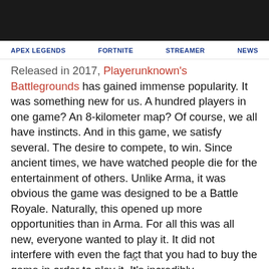APEX LEGENDS   FORTNITE   STREAMER   NEWS
Released in 2017, Playerunknown's Battlegrounds has gained immense popularity. It was something new for us. A hundred players in one game? An 8-kilometer map? Of course, we all have instincts. And in this game, we satisfy several. The desire to compete, to win. Since ancient times, we have watched people die for the entertainment of others. Unlike Arma, it was obvious the game was designed to be a Battle Royale. Naturally, this opened up more opportunities than in Arma. For all this was all new, everyone wanted to play it. It did not interfere with even the fact that you had to buy the game in order to play it. It's incredibly